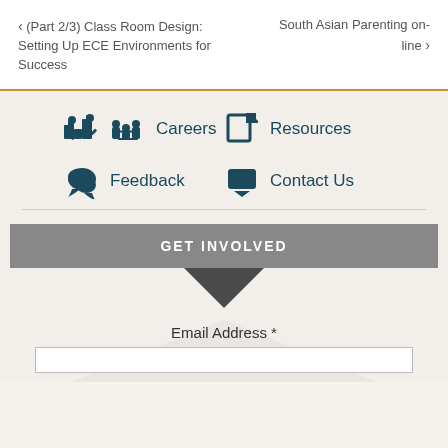< (Part 2/3) Class Room Design: Setting Up ECE Environments for Success    South Asian Parenting on-line >
Careers
Resources
Feedback
Contact Us
GET INVOLVED
Email Address *